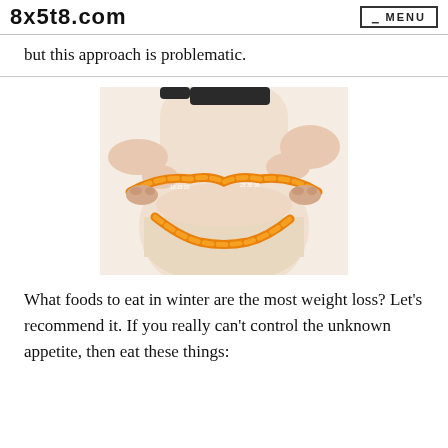8x5t8.com — MENU
but this approach is problematic.
[Figure (photo): Person in beige underwear being measured around the midsection with an orange measuring tape, illustrating body fat/weight loss concept.]
What foods to eat in winter are the most weight loss? Let's recommend it. If you really can't control the unknown appetite, then eat these things: